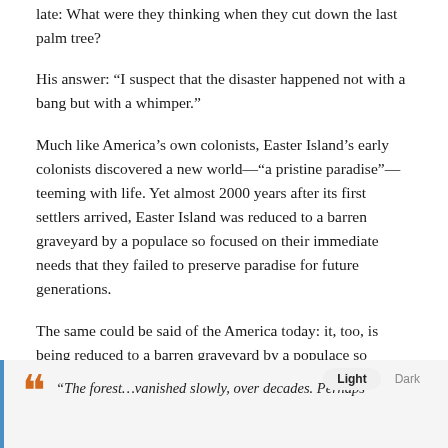late: What were they thinking when they cut down the last palm tree?
His answer: “I suspect that the disaster happened not with a bang but with a whimper.”
Much like America’s own colonists, Easter Island’s early colonists discovered a new world—“a pristine paradise”—teeming with life. Yet almost 2000 years after its first settlers arrived, Easter Island was reduced to a barren graveyard by a populace so focused on their immediate needs that they failed to preserve paradise for future generations.
The same could be said of the America today: it, too, is being reduced to a barren graveyard by a populace so focused on their immediate needs that they are failing to preserve freedom for future generations.
In Easter Island’s case, as Diamond speculates:
“The forest…vanished slowly, over decades. Perhaps